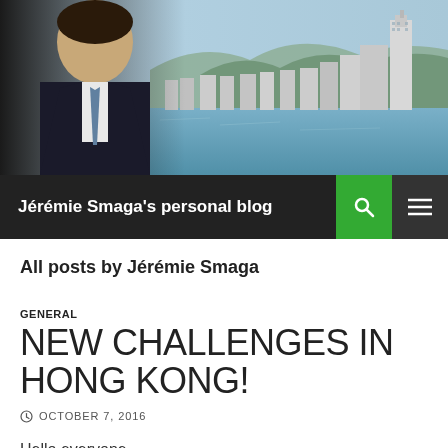[Figure (photo): Header banner with a man in a dark suit and tie on the left, and Hong Kong cityscape/harbor in the background]
Jérémie Smaga's personal blog
All posts by Jérémie Smaga
GENERAL
NEW CHALLENGES IN HONG KONG!
OCTOBER 7, 2016
Hello everyone